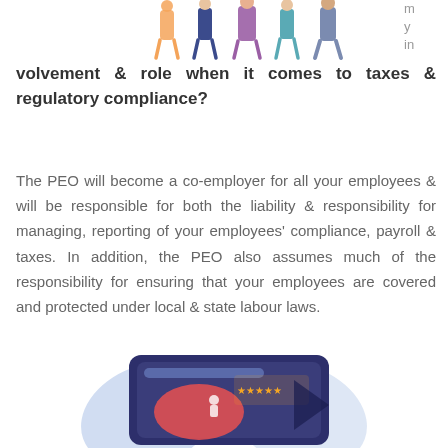[Figure (illustration): Illustration of diverse people/employees at the top of the page, partially cropped]
volvement & role when it comes to taxes & regulatory compliance?
The PEO will become a co-employer for all your employees & will be responsible for both the liability & responsibility for managing, reporting of your employees' compliance, payroll & taxes. In addition, the PEO also assumes much of the responsibility for ensuring that your employees are covered and protected under local & state labour laws.
[Figure (illustration): Illustration of a tablet/screen showing a rating/review interface with stars and figures, partially shown at the bottom]